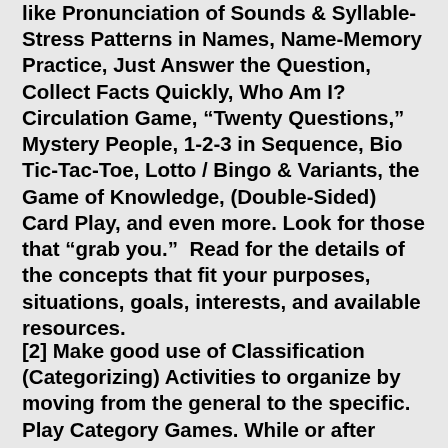like Pronunciation of Sounds & Syllable-Stress Patterns in Names, Name-Memory Practice, Just Answer the Question, Collect Facts Quickly, Who Am I? Circulation Game, “Twenty Questions,” Mystery People, 1-2-3 in Sequence, Bio Tic-Tac-Toe, Lotto / Bingo & Variants, the Game of Knowledge, (Double-Sided) Card Play, and even more. Look for those that “grab you.”  Read for the details of the concepts that fit your purposes, situations, goals, interests, and available resources.
[2] Make good use of Classification (Categorizing) Activities to organize by moving from the general to the specific. Play Category Games. While or after